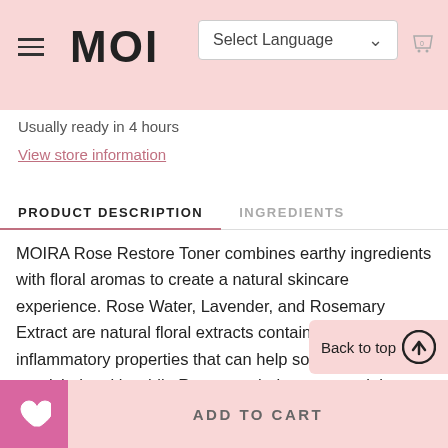MOIRA — Select Language — Cart
Usually ready in 4 hours
View store information
PRODUCT DESCRIPTION
INGREDIENTS
MOIRA Rose Restore Toner combines earthy ingredients with floral aromas to create a natural skincare experience. Rose Water, Lavender, and Rosemary Extract are natural floral extracts containing anti-inflammatory properties that can help soothe and nourish the skin while Rosemary helps to control the facial oils. Our non-drying, alcohol-free formula refreshes and tightens pores, provides superior hydration and antioxidants, re-
Back to top
ADD TO CART